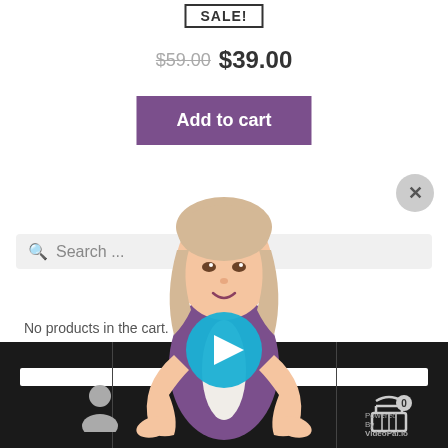SALE!
$59.00  $39.00
Add to cart
[Figure (illustration): 3D animated female avatar/virtual assistant character with blonde hair, wearing purple vest, hands raised in welcoming gesture, with a large blue play button overlay in the center]
Search ...
No products in the cart.
[Figure (screenshot): Bottom navigation bar (dark/black): contains a white input bar, user icon on left, cart icon with 0 badge on right, and 'Powered By VideoPal.io' text]
Powered By VideoPal.io